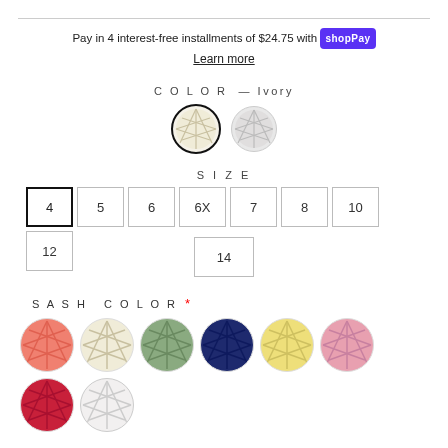Pay in 4 interest-free installments of $24.75 with shopPay Learn more
COLOR — Ivory
[Figure (illustration): Two circular fabric swatches: ivory (selected, black border) and white/silver (unselected)]
SIZE
4 (selected), 5, 6, 6X, 7, 8, 10, 12, 14
SASH COLOR *
[Figure (illustration): Eight circular fabric swatch color options: coral/salmon, ivory, sage green, navy blue, yellow, pink, red/crimson, white]